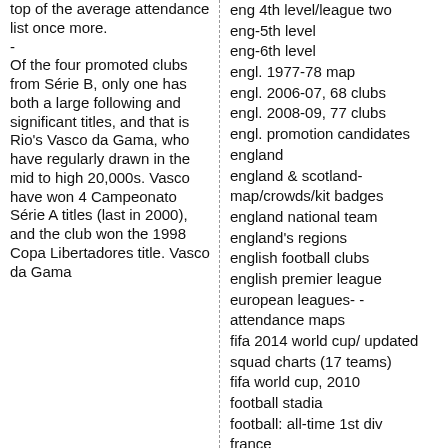top of the average attendance list once more.
-
Of the four promoted clubs from Série B, only one has both a large following and significant titles, and that is Rio's Vasco da Gama, who have regularly drawn in the mid to high 20,000s. Vasco have won 4 Campeonato Série A titles (last in 2000), and the club won the 1998 Copa Libertadores title. Vasco da Gama
eng 4th level/league two
eng-5th level
eng-6th level
engl. 1977-78 map
engl. 2006-07, 68 clubs
engl. 2008-09, 77 clubs
engl. promotion candidates
england
england & scotland-map/crowds/kit badges
england national team
england's regions
english football clubs
english premier league
european leagues- - attendance maps
fifa 2014 world cup/ updated squad charts (17 teams)
fifa world cup, 2010
football stadia
football: all-time 1st div
france
germany
ghana
greece
hand drawn maps
hockey
hockey, nhl re-alignment
hockey-nhl and expansion
hockey-nhl, pre-realignm't
hockey-wha
honduras
hungary